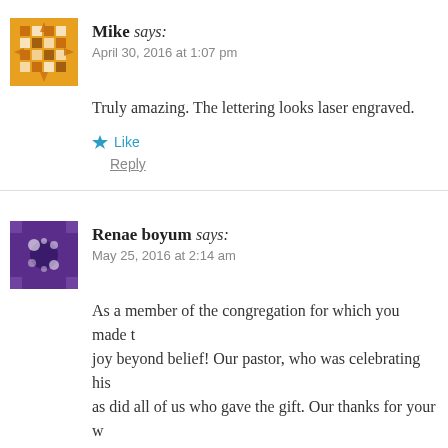Mike says: April 30, 2016 at 1:07 pm
Truly amazing. The lettering looks laser engraved.
Like
Reply
Renae boyum says: May 25, 2016 at 2:14 am
As a member of the congregation for which you made joy beyond belief! Our pastor, who was celebrating his as did all of us who gave the gift. Our thanks for your w remarkable piece of art
Like
Reply